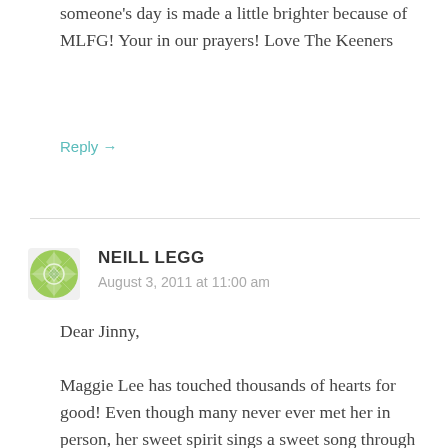someone's day is made a little brighter because of MLFG! Your in our prayers! Love The Keeners
Reply →
[Figure (illustration): Green decorative avatar icon with geometric pattern]
NEILL LEGG
August 3, 2011 at 11:00 am
Dear Jinny,
Maggie Lee has touched thousands of hearts for good! Even though many never ever met her in person, her sweet spirit sings a sweet song through the caring deeds of others. Jessie Keener is our dear friend, her mother Millie is my best friend since 4th grade. The love that Jessie has shared through the Maggie Lee for Good mission has made quite an impact right here in NC. We hold you in prayer as this anniversary reminds